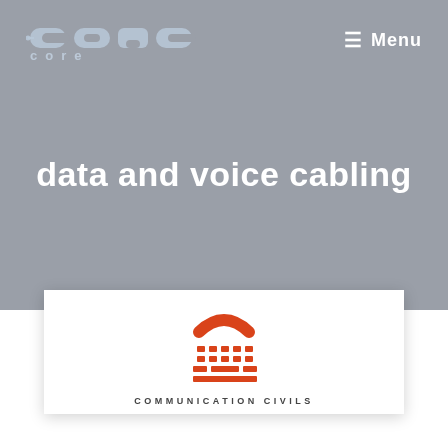[Figure (logo): CORE company logo in light blue/grey stylized text on grey background]
≡ Menu
data and voice cabling
[Figure (illustration): Orange telephone/TTY icon above text COMMUNICATION CIVILS on white card]
COMMUNICATION CIVILS